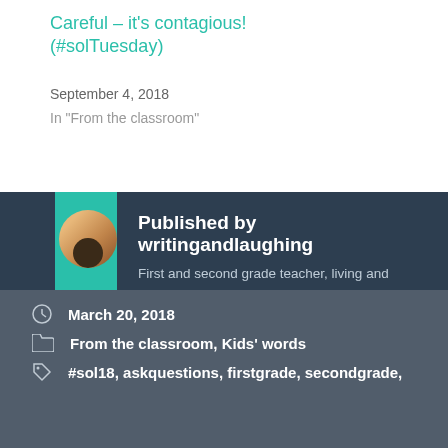Careful – it's contagious! (#solTuesday)
September 4, 2018
In "From the classroom"
[Figure (illustration): Author avatar with teal bookmark ribbon and circular profile photo]
Published by writingandlaughing
First and second grade teacher, living and laughing in the mountains of Colorado
View all posts by writingandlaughing
March 20, 2018
From the classroom, Kids' words
#sol18, askquestions, firstgrade, secondgrade,